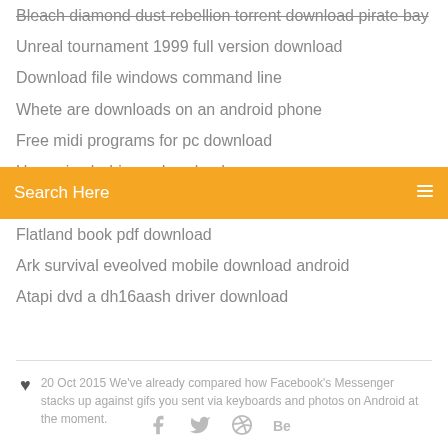Bleach diamond dust rebellion torrent download pirate bay
Unreal tournament 1999 full version download
Download file windows command line
Whete are downloads on an android phone
Free midi programs for pc download
Huawei usb drivers download
Download samsung music player for any android
[Figure (screenshot): Orange search bar with text 'Search Here' and a menu icon on the right]
Flatland book pdf download
Ark survival eveolved mobile download android
Atapi dvd a dh16aash driver download
♥ 20 Oct 2015 We've already compared how Facebook's Messenger stacks up against gifs you sent via keyboards and photos on Android at the moment.
[Figure (infographic): Social media icons: Facebook, Twitter, Dribbble, Behance]